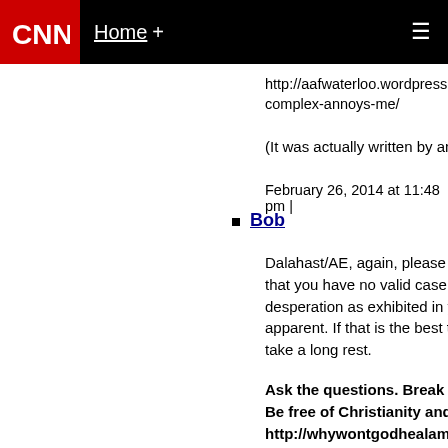CNN — Home +
http://aafwaterloo.wordpress.com/201…complex-annoys-me/
(It was actually written by an atheist).
February 26, 2014 at 11:48 pm |
Bob
Dalahast/AE, again, please stop the p… that you have no valid case to present… desperation as exhibited in your ongo… apparent. If that is the best that you ca… take a long rest.
Ask the questions. Break the chains… Be free of Christianity and other su… http://whywontgodhealamputees.c…
February 26, 2014 at 11:57 pm |
Dalahäst